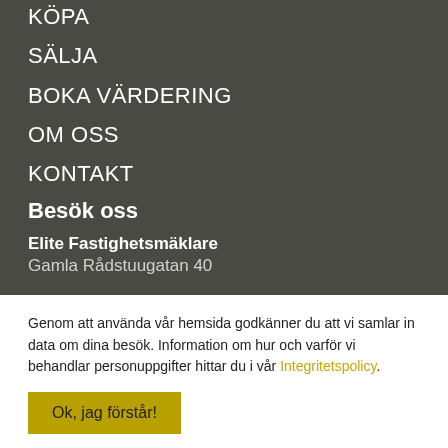KÖPA
SÄLJA
BOKA VÄRDERING
OM OSS
KONTAKT
Besök oss
Elite Fastighetsmäklare
Gamla Rådstuugatan 40
Genom att använda vår hemsida godkänner du att vi samlar in data om dina besök. Information om hur och varför vi behandlar personuppgifter hittar du i vår Integritetspolicy.
Ok, jag förstår!